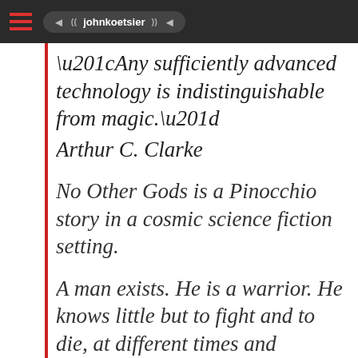johnkoetsier
“Any sufficiently advanced technology is indistinguishable from magic.” Arthur C. Clarke
No Other Gods is a Pinocchio story in a cosmic science fiction setting.
A man exists. He is a warrior. He knows little but to fight and to die, at different times and places, to impose the will of the gods. But while he fights, he does not die, and over time...